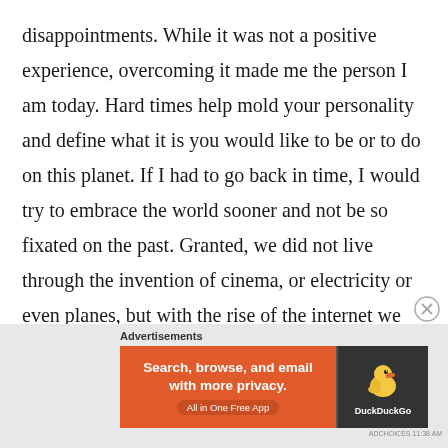disappointments. While it was not a positive experience, overcoming it made me the person I am today. Hard times help mold your personality and define what it is you would like to be or to do on this planet. If I had to go back in time, I would try to embrace the world sooner and not be so fixated on the past. Granted, we did not live through the invention of cinema, or electricity or even planes, but with the rise of the internet we are at the dawn of a new industrial revolution, perhaps an even bigger one. We should seize its opportunities!
[Figure (other): DuckDuckGo advertisement banner with orange left panel reading 'Search, browse, and email with more privacy. All in One Free App' and dark right panel with DuckDuckGo duck logo]